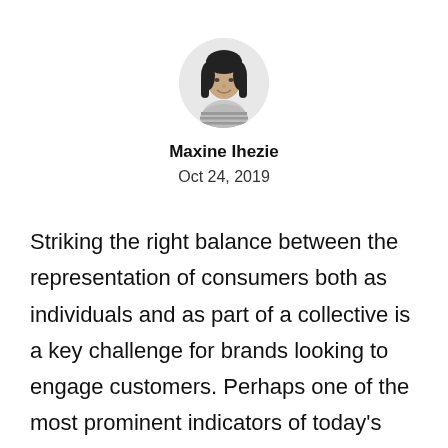[Figure (photo): Circular profile photo of Maxine Ihezie, a woman with long dark hair wearing a striped top, shown from shoulders up against a light background.]
Maxine Ihezie
Oct 24, 2019
Striking the right balance between the representation of consumers both as individuals and as part of a collective is a key challenge for brands looking to engage customers. Perhaps one of the most prominent indicators of today's